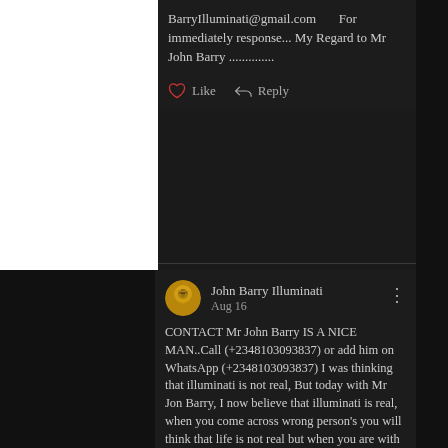BarryIlluminati@gmail.com    For immediately response... My Regard to Mr John Barry ..............
Like   Reply
John Barry Illuminati
Aug 16
CONTACT Mr John Barry IS A NICE MAN..Call (+2348103093837) or add him on WhatsApp (+2348103093837) I was thinking that illuminati is not real, But today with Mr Jon Barry, I now believe that illuminati is real, when you come across wrong person's you will think that life is not real but when you are with the real one you will experience the goodness of your life, To Mr John Barry, has made me discovered my purpose of life. Welcome to the great brotherhood of Illuminati 666: . WhatsApp Mr John Barry,from , Italy , and every other Country's on how to join the Illuminati brotherhood to get rich and famous, You may be a politician, business man/woman, musical artist,